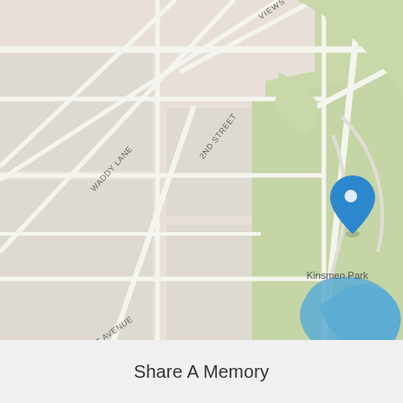[Figure (map): Street map showing Lakeside Blvd., Waddy Lane, 2nd Street, 1st Avenue, 2nd Avenue, Park Lane Way, and Kinsmen Park with a blue location pin marker. A lake is visible in the lower right portion of the map.]
Share A Memory